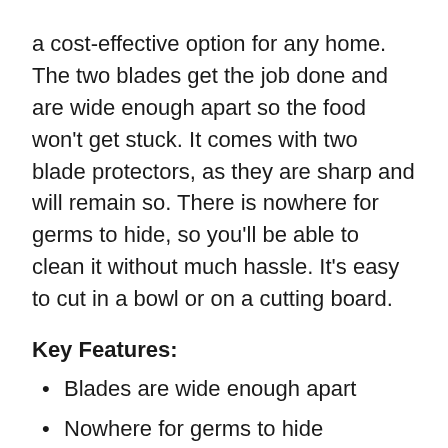a cost-effective option for any home. The two blades get the job done and are wide enough apart so the food won't get stuck. It comes with two blade protectors, as they are sharp and will remain so. There is nowhere for germs to hide, so you'll be able to clean it without much hassle. It's easy to cut in a bowl or on a cutting board.
Key Features:
Blades are wide enough apart
Nowhere for germs to hide
Can cut in a bowl or on a cutting board